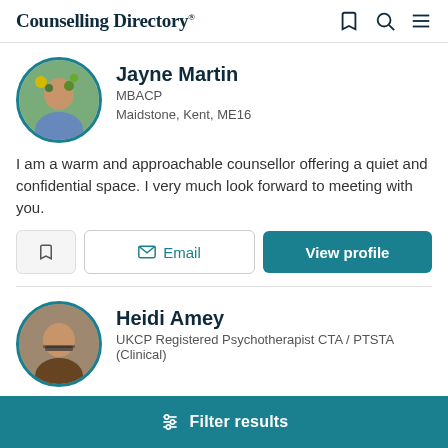Counselling Directory
Jayne Martin
MBACP
Maidstone, Kent, ME16
I am a warm and approachable counsellor offering a quiet and confidential space. I very much look forward to meeting with you.
Heidi Amey
UKCP Registered Psychotherapist CTA / PTSTA (Clinical)
Filter results